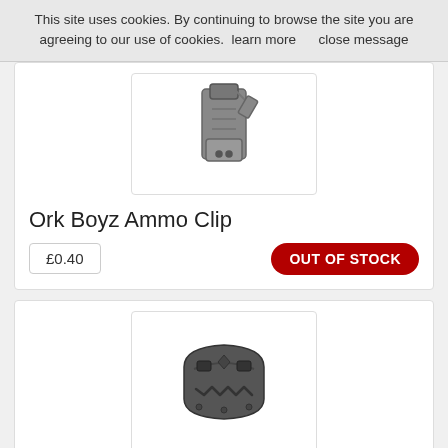This site uses cookies. By continuing to browse the site you are agreeing to our use of cookies.  learn more     close message
[Figure (photo): Product photo of Ork Boyz Ammo Clip, a dark metal miniature clip piece, shown on white background]
Ork Boyz Ammo Clip
£0.40
OUT OF STOCK
[Figure (photo): Product photo of Ork Boyz Armour Plate A, a dark metal miniature armour piece with ork face design, shown on white background]
Ork Boyz Armour Plate A